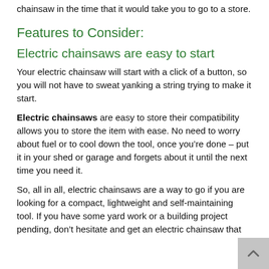chainsaw in the time that it would take you to go to a store.
Features to Consider:
Electric chainsaws are easy to start
Your electric chainsaw will start with a click of a button, so you will not have to sweat yanking a string trying to make it start.
Electric chainsaws are easy to store their compatibility allows you to store the item with ease. No need to worry about fuel or to cool down the tool, once you’re done – put it in your shed or garage and forgets about it until the next time you need it.
So, all in all, electric chainsaws are a way to go if you are looking for a compact, lightweight and self-maintaining tool. If you have some yard work or a building project pending, don’t hesitate and get an electric chainsaw that